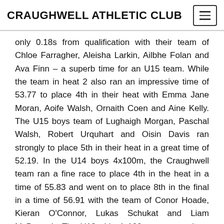CRAUGHWELL ATHLETIC CLUB
only 0.18s from qualification with their team of Chloe Farragher, Aleisha Larkin, Ailbhe Folan and Ava Finn – a superb time for an U15 team. While the team in heat 2 also ran an impressive time of 53.77 to place 4th in their heat with Emma Jane Moran, Aoife Walsh, Ornaith Coen and Aine Kelly. The U15 boys team of Lughaigh Morgan, Paschal Walsh, Robert Urquhart and Oisin Davis ran strongly to place 5th in their heat in a great time of 52.19. In the U14 boys 4x100m, the Craughwell team ran a fine race to place 4th in the heat in a time of 55.83 and went on to place 8th in the final in a time of 56.91 with the team of Conor Hoade, Kieran O'Connor, Lukas Schukat and Liam McDonagh. The U12 girls 4x100m ran strongly to place in 6th in their heat with Grace Keaveney, Chloe Hallinan,